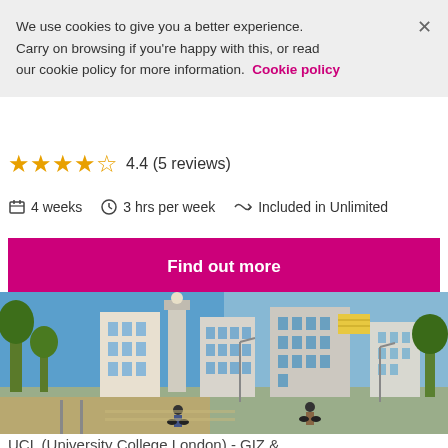We use cookies to give you a better experience. Carry on browsing if you're happy with this, or read our cookie policy for more information. Cookie policy
4.4 (5 reviews)
4 weeks   3 hrs per week   Included in Unlimited
Find out more
[Figure (photo): Street scene with buildings, trees, palm trees, tram tracks and cyclists in an urban setting]
UCL (University College London) - GIZ &